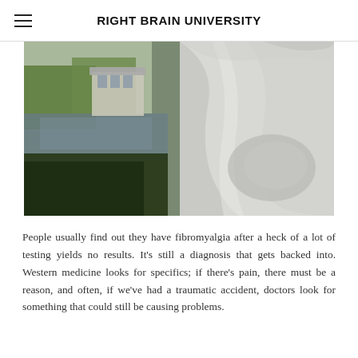RIGHT BRAIN UNIVERSITY
[Figure (photo): Close-up photograph showing a white fabric or clothing material in the foreground with an outdoor scene visible in the background, including a building reflected in water and green trees/lawn.]
People usually find out they have fibromyalgia after a heck of a lot of testing yields no results. It's still a diagnosis that gets backed into. Western medicine looks for specifics; if there's pain, there must be a reason, and often, if we've had a traumatic accident, doctors look for something that could still be causing problems.